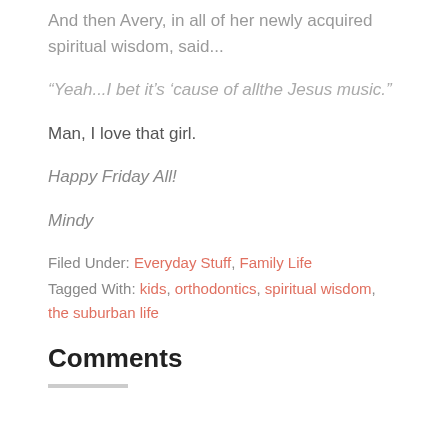And then Avery, in all of her newly acquired spiritual wisdom, said...
“Yeah...I bet it’s ‘cause of allthe Jesus music.”
Man, I love that girl.
Happy Friday All!
Mindy
Filed Under: Everyday Stuff, Family Life
Tagged With: kids, orthodontics, spiritual wisdom, the suburban life
Comments